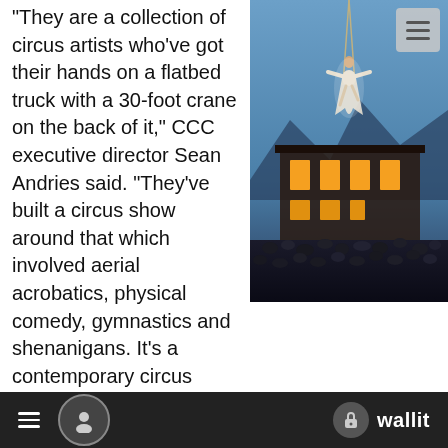"They are a collection of circus artists who've got their hands on a flatbed truck with a 30-foot crane on the back of it," CCC executive director Sean Andries said. "They've built a circus show around that which involved aerial acrobatics, physical comedy, gymnastics and shenanigans. It's a contemporary circus show, so no animals, and it's got people doing amazing things in the air."
[Figure (photo): Aerial acrobat suspended by ropes above a large crowd outside a building at dusk, with mountains in background.]
The performing group tours around the Northwest and was in search of a venue. Given Andries's background as a performance artist, he took up the opportunity to bring the show to Newberg.
"I used to run a circus school and was a performer for a long time,"
wallit